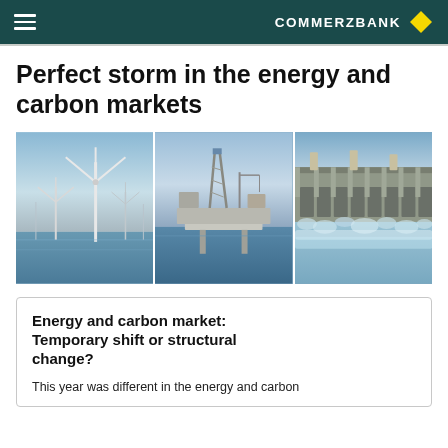COMMERZBANK
Perfect storm in the energy and carbon markets
[Figure (photo): Three-panel image strip showing: offshore wind turbines at sea, an offshore oil/gas drilling platform, and a large hydroelectric dam releasing water.]
Energy and carbon market: Temporary shift or structural change?
This year was different in the energy and carbon